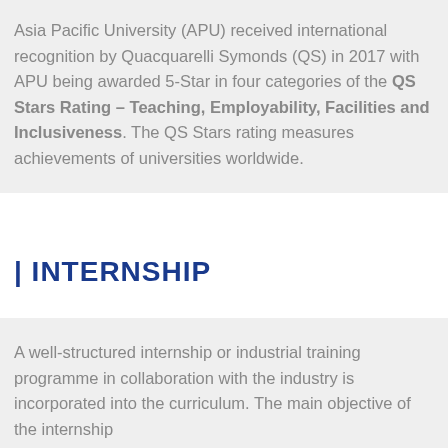Asia Pacific University (APU) received international recognition by Quacquarelli Symonds (QS) in 2017 with APU being awarded 5-Star in four categories of the QS Stars Rating – Teaching, Employability, Facilities and Inclusiveness. The QS Stars rating measures achievements of universities worldwide.
| INTERNSHIP
A well-structured internship or industrial training programme in collaboration with the industry is incorporated into the curriculum. The main objective of the internship